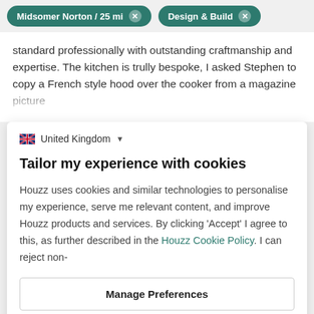Midsomer Norton / 25 mi  Design & Build
standard professionally with outstanding craftmanship and expertise. The kitchen is trully bespoke, I asked Stephen to copy a French style hood over the cooker from a magazine picture
United Kingdom
Tailor my experience with cookies
Houzz uses cookies and similar technologies to personalise my experience, serve me relevant content, and improve Houzz products and services. By clicking 'Accept' I agree to this, as further described in the Houzz Cookie Policy. I can reject non-
Manage Preferences
Accept